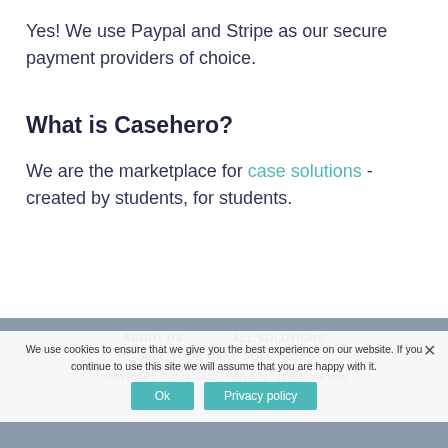Yes! We use Paypal and Stripe as our secure payment providers of choice.
What is Casehero?
We are the marketplace for case solutions - created by students, for students.
ABOUT US   ALL SOLUTIONS   SELL YOUR CASE SOLUTIONS   COPYRIGHT © 2014–2022 · PRIVACY · TERMS OF USE
We use cookies to ensure that we give you the best experience on our website. If you continue to use this site we will assume that you are happy with it.